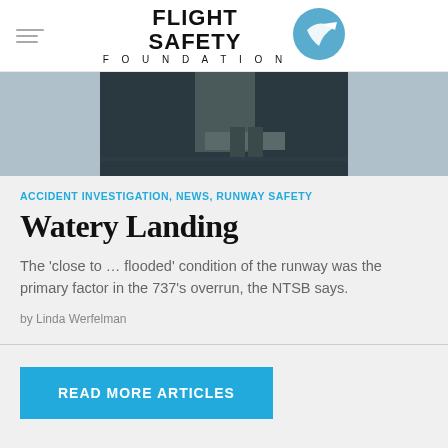FLIGHT SAFETY FOUNDATION
[Figure (photo): Aerial photo of a runway or pier extending into dark water]
ACCIDENT INVESTIGATION, NEWS, RUNWAY SAFETY
Watery Landing
The 'close to … flooded' condition of the runway was the primary factor in the 737's overrun, the NTSB says.
by Linda Werfelman
READ MORE ARTICLES